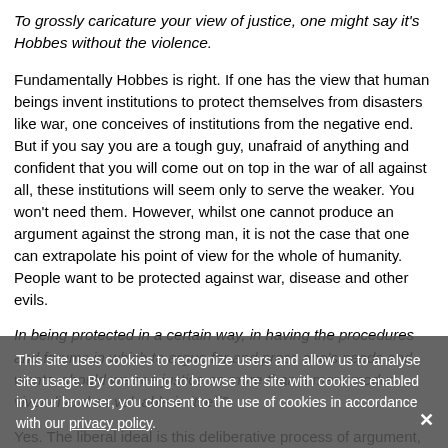To grossly caricature your view of justice, one might say it's Hobbes without the violence.
Fundamentally Hobbes is right. If one has the view that human beings invent institutions to protect themselves from disasters like war, one conceives of institutions from the negative end. But if you say you are a tough guy, unafraid of anything and confident that you will come out on top in the war of all against all, these institutions will seem only to serve the weaker. You won't need them. However, whilst one cannot produce an argument against the strong man, it is not the case that one can extrapolate his point of view for the whole of humanity. People want to be protected against war, disease and other evils.
In being protected in a certain way, in having the procedures and forums in which to argue for and press one's needs and wants, should we see justice as more than a mere modus vivendi and as valuable in itself?
Yes. The liberal ideal is this deliberative process of argument, which has its somewhat grotesque forms, particularly in the law. Justice may not be seen to be served if we consider the particular case. It only seems to be served if we take the history of the whole institution, and then we see it has been a better alternative than the free-for-all. But in many individual cases both parties may feel they would do better in a
This site uses cookies to recognize users and allow us to analyse site usage. By continuing to browse the site with cookies enabled in your browser, you consent to the use of cookies in accordance with our privacy policy.